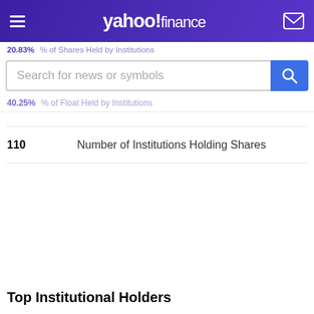yahoo! finance
20.83%  % of Shares Held by Institutions
Search for news or symbols
40.25%  % of Float Held by Institutions
| 110 | Number of Institutions Holding Shares |
Top Institutional Holders